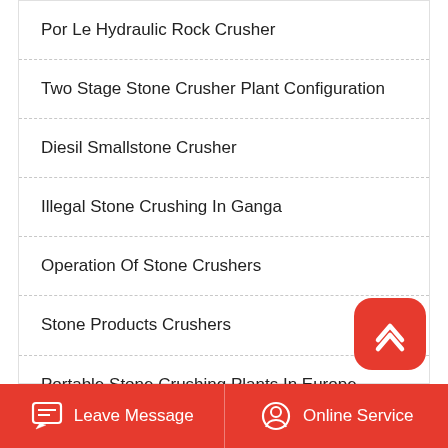Por Le Hydraulic Rock Crusher
Two Stage Stone Crusher Plant Configuration
Diesil Smallstone Crusher
Illegal Stone Crushing In Ganga
Operation Of Stone Crushers
Stone Products Crushers
Portable Stone Crushing Plants In Europe
Serie Stone Crusher
Leave Message   Online Service